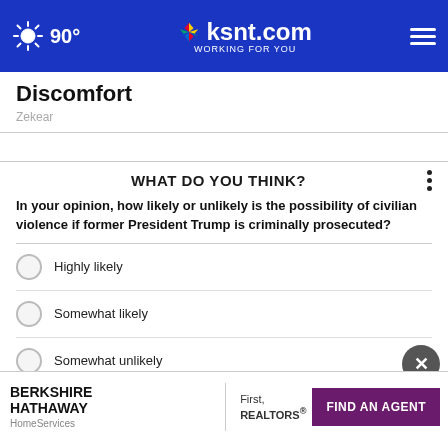90° ksnt.com WORKING FOR YOU
Discomfort
Zekear
WHAT DO YOU THINK?
In your opinion, how likely or unlikely is the possibility of civilian violence if former President Trump is criminally prosecuted?
Highly likely
Somewhat likely
Somewhat unlikely
[Figure (other): Advertisement banner for Berkshire Hathaway HomeServices, First Realtors with FIND AN AGENT button]